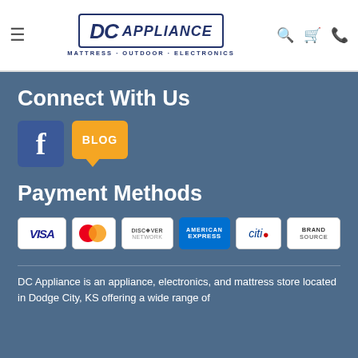[Figure (logo): DC Appliance logo with tagline MATTRESS · OUTDOOR · ELECTRONICS]
Connect With Us
[Figure (infographic): Facebook icon and Blog speech bubble icon]
Payment Methods
[Figure (infographic): Payment card logos: VISA, MasterCard, Discover, American Express, Citi, Brand Source]
DC Appliance is an appliance, electronics, and mattress store located in Dodge City, KS offering a wide range of...